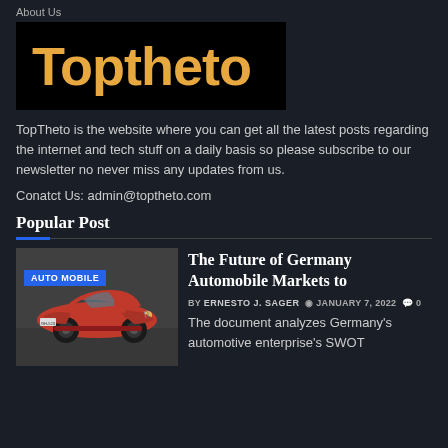About Us
[Figure (logo): Toptheto logo: large orange bold text on black background]
TopTheto is the website where you can get all the latest posts regarding the internet and tech stuff on a daily basis so please subscribe to our newsletter no never miss any updates from us.
Conatct Us: admin@toptheto.com
Popular Post
[Figure (photo): Vintage red automobile (classic car) displayed in what appears to be a museum setting. Labeled AUTO MOBILE badge in blue.]
The Future of Germany Automobile Markets to
BY ERNESTO J. SAGER  JANUARY 7, 2022  0
The document analyzes Germany's automotive enterprise's SWOT